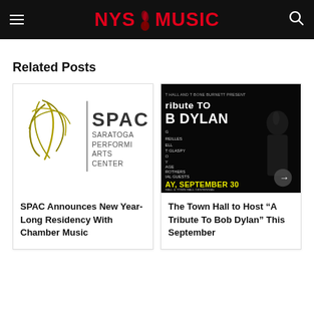NYS Music
Related Posts
[Figure (logo): SPAC - Saratoga Performing Arts Center logo with golden abstract figure and text]
SPAC Announces New Year-Long Residency With Chamber Music
[Figure (photo): Dark promotional poster for A Tribute To Bob Dylan at Town Hall, September 30, featuring concert text and silhouette photo]
The Town Hall to Host “A Tribute To Bob Dylan” This September